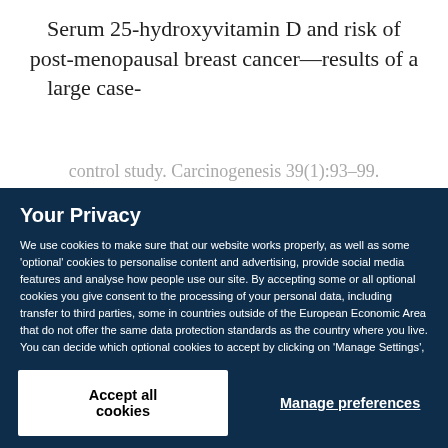Serum 25-hydroxyvitamin D and risk of post-menopausal breast cancer—results of a large case-control study. Carcinogenesis 39(1):93–99.
Your Privacy
We use cookies to make sure that our website works properly, as well as some 'optional' cookies to personalise content and advertising, provide social media features and analyse how people use our site. By accepting some or all optional cookies you give consent to the processing of your personal data, including transfer to third parties, some in countries outside of the European Economic Area that do not offer the same data protection standards as the country where you live. You can decide which optional cookies to accept by clicking on 'Manage Settings', where you can also find more information about how your personal data is processed. Further information can be found in our privacy policy.
Accept all cookies
Manage preferences